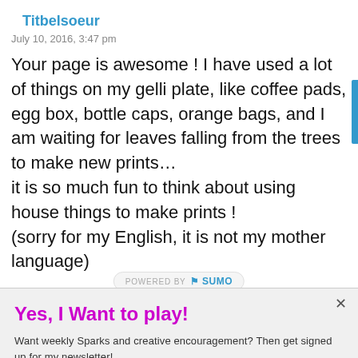Titbelsoeur
July 10, 2016, 3:47 pm
Your page is awesome ! I have used a lot of things on my gelli plate, like coffee pads, egg box, bottle caps, orange bags, and I am waiting for leaves falling from the trees to make new prints…
it is so much fun to think about using house things to make prints !
(sorry for my English, it is not my mother language)
Yes, I Want to play!
Want weekly Sparks and creative encouragement? Then get signed up for my newsletter!
Enter your Email
Send me the newsletter!
Yes, I would like you to send me a newsletter.